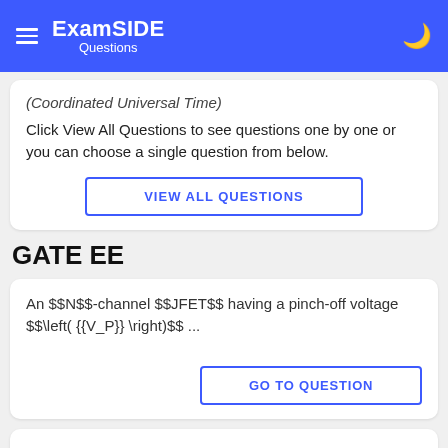ExamSIDE Questions
(Coordinated Universal Time)
Click View All Questions to see questions one by one or you can choose a single question from below.
VIEW ALL QUESTIONS
GATE EE
An $$N$$-channel $$JFET$$ having a pinch-off voltage $$\left( {{V_P}} \right)$$ ...
GO TO QUESTION
An op-amp, having a slew rate of $$62.8$$ $$V/\mu \,$$sec, is connected in a vol...